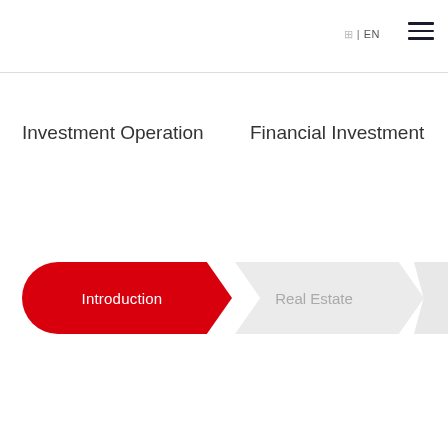🌐 | EN
Investment Operation
Financial Investment
Introduction
Real Estate